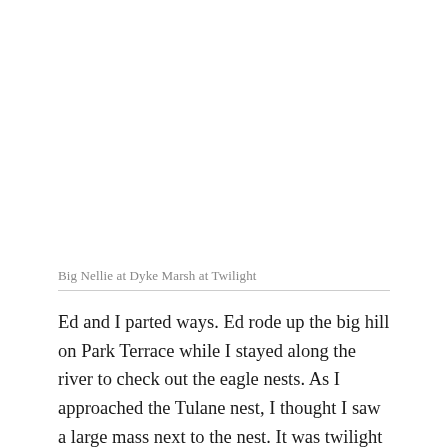Big Nellie at Dyke Marsh at Twilight
Ed and I parted ways. Ed rode up the big hill on Park Terrace while I stayed along the river to check out the eagle nests. As I approached the Tulane nest, I thought I saw a large mass next to the nest. It was twilight so I wasn't sure. As I rolled under the nest I saw wings fan as an eagle descended into the nest from the left. Cool! On the right side of the nest, I saw the partner eagle standing guard. I think what I